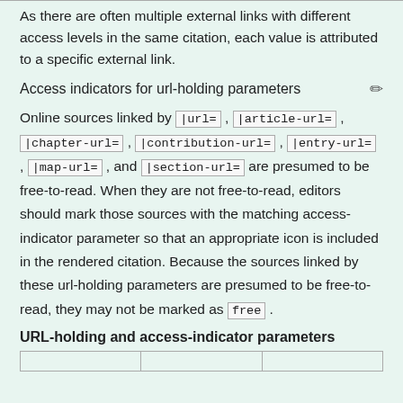As there are often multiple external links with different access levels in the same citation, each value is attributed to a specific external link.
Access indicators for url-holding parameters
Online sources linked by |url= , |article-url= , |chapter-url= , |contribution-url= , |entry-url= , |map-url= , and |section-url= are presumed to be free-to-read. When they are not free-to-read, editors should mark those sources with the matching access-indicator parameter so that an appropriate icon is included in the rendered citation. Because the sources linked by these url-holding parameters are presumed to be free-to-read, they may not be marked as free .
URL-holding and access-indicator parameters